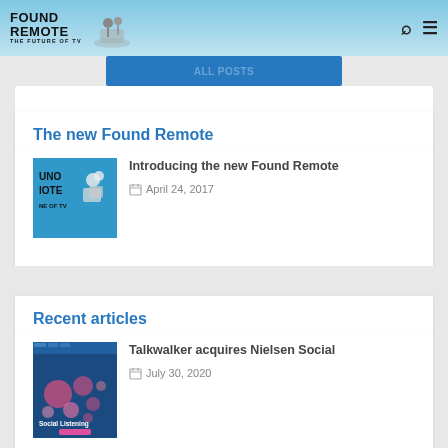Found Remote – The Future of TV
The new Found Remote
[Figure (logo): Found Remote logo with illustrated figures sitting]
Introducing the new Found Remote
April 24, 2017
Recent articles
[Figure (screenshot): Social Listening article thumbnail with bubble map visualization]
Talkwalker acquires Nielsen Social
July 30, 2020